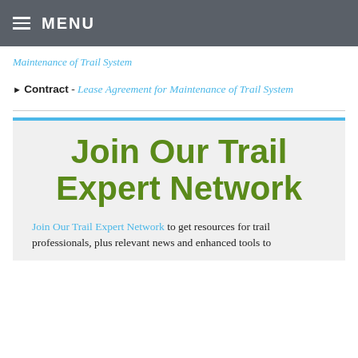MENU
Maintenance of Trail System
▶ Contract - Lease Agreement for Maintenance of Trail System
[Figure (other): Promotional banner section with blue top bar and light gray background]
Join Our Trail Expert Network
Join Our Trail Expert Network to get resources for trail professionals, plus relevant news and enhanced tools to